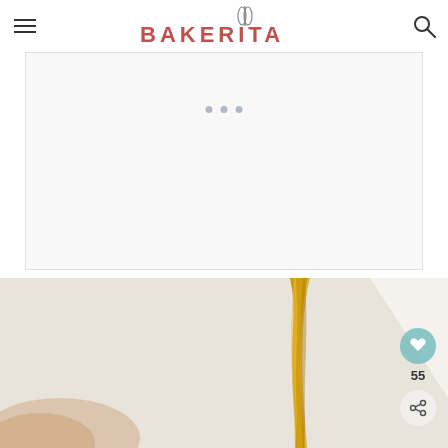BAKERITA
[Figure (other): Advertisement placeholder box with light gray background]
[Figure (photo): A stream of golden honey or oil pouring down against a light background, with a partial view of a baked item in the lower left corner. A teal heart/like button with count 55 and a share button are overlaid on the right side.]